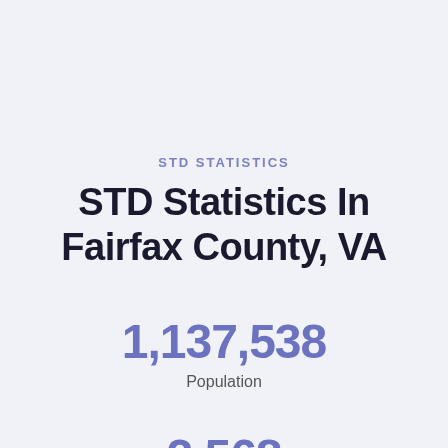STD STATISTICS
STD Statistics In Fairfax County, VA
1,137,538
Population
2,568